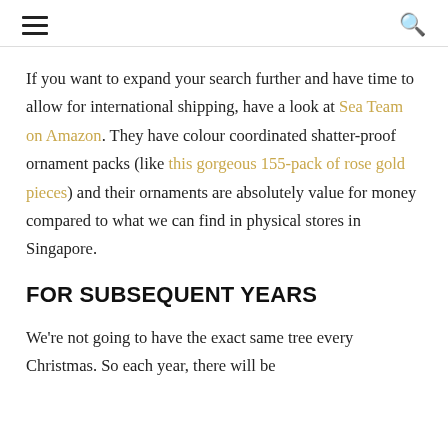≡  🔍
If you want to expand your search further and have time to allow for international shipping, have a look at Sea Team on Amazon. They have colour coordinated shatter-proof ornament packs (like this gorgeous 155-pack of rose gold pieces) and their ornaments are absolutely value for money compared to what we can find in physical stores in Singapore.
FOR SUBSEQUENT YEARS
We're not going to have the exact same tree every Christmas. So each year, there will be